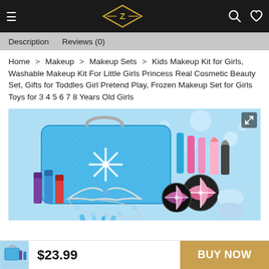Navigation bar with logo, hamburger menu, search and wishlist icons
Description   Reviews (0)
Home > Makeup > Makeup Sets > Kids Makeup Kit for Girls, Washable Makeup Kit For Little Girls Princess Real Cosmetic Beauty Set, Gifts for Toddles Girl Pretend Play, Frozen Makeup Set for Girls Toys for 3 4 5 6 7 8 Years Old Girls
[Figure (photo): Kids makeup kit product photo showing a glittery blue suitcase with snowflake design, nail polishes, tiara, lip glosses, lipsticks, eyeshadow palettes, and makeup tools on a sparkly blue background]
$23.99   BUY NOW